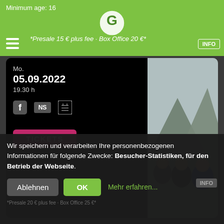Minimum age: 16
*Presale 15 € plus fee · Box Office 20 €*
[Figure (screenshot): Event listing card showing date Mo. 05.09.2022 at 19.30h with social icons, TICKETS button, photo of three men with mountain backdrop, genre Samba Doido Jazz Funk, artist name AZYMUTH, lineup: BOX1 Azymuth (BR) *live* / Sean Steinfeger (WarmUp DJ-Set/D)]
Wir speichern und verarbeiten Ihre personenbezogenen Informationen für folgende Zwecke: Besucher-Statistiken, für den Betrieb der Webseite.